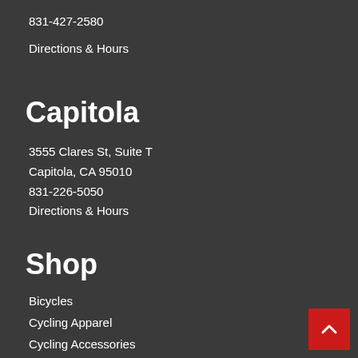831-427-2580
Directions & Hours
Capitola
3555 Clares St, Suite T
Capitola, CA 95010
831-226-5050
Directions & Hours
Shop
Bicycles
Cycling Apparel
Cycling Accessories
Bike Components